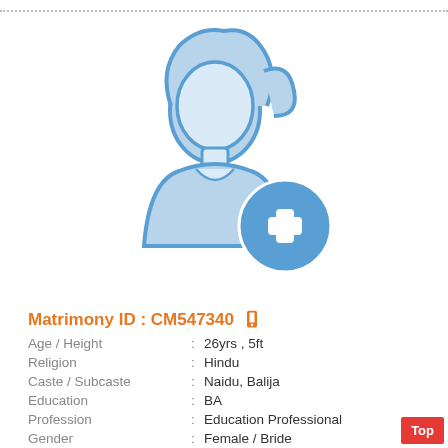[Figure (illustration): Female avatar/silhouette icon in light blue with a blue plus sign circle at bottom right, indicating add photo]
Matrimony ID : CM547340 [phone icon]
| Age / Height | : | 26yrs , 5ft |
| Religion | : | Hindu |
| Caste / Subcaste | : | Naidu, Balija |
| Education | : | BA |
| Profession | : | Education Professional |
| Gender | : | Female / Bride |
| Star / Rasi | : | Mrigashirisham ,Mithunam (Gemini) ; |
| Language | : | Kannada |